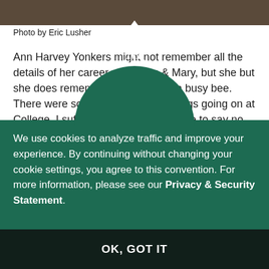[Figure (photo): Partial photo strip at top of page, showing a dark brownish image]
Photo by Eric Lusher
Ann Harvey Yonkers might not remember all the details of her career at William & Mary, but she but she does remember that she was a busy bee. There were so many fascinating things going on at College. I suffered from not being able to say no, Yonkers. "I just wanted to experience as much as possible."
[Figure (logo): William & Mary crown and monogram logo in white on dark green arch/semicircle]
We use cookies to analyze traffic and improve your experience. By continuing without changing your cookie settings, you agree to this convention. For more information, please see our Privacy & Security Statement.
Her senior ... Grange Scholarship ... the thought ... studying